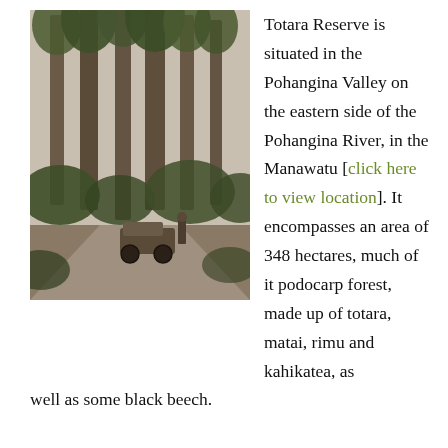[Figure (photo): Black and white historical photograph of tall podocarp trees (totara, rimu) in Totara Reserve, with an early automobile on a dirt path and a person standing beside it.]
Totara Reserve is situated in the Pohangina Valley on the eastern side of the Pohangina River, in the Manawatu [click here to view location]. It encompasses an area of 348 hectares, much of it podocarp forest, made up of totara, matai, rimu and kahikatea, as well as some black beech.
Its history as a reserve began in 1886, when it was gazetted under the provisions of the State Forests Act